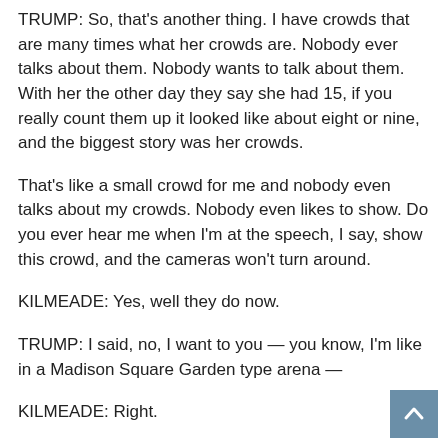TRUMP: So, that's another thing. I have crowds that are many times what her crowds are. Nobody ever talks about them. Nobody wants to talk about them. With her the other day they say she had 15, if you really count them up it looked like about eight or nine, and the biggest story was her crowds.
That's like a small crowd for me and nobody even talks about my crowds. Nobody even likes to show. Do you ever hear me when I'm at the speech, I say, show this crowd, and the cameras won't turn around.
KILMEADE: Yes, well they do now.
TRUMP: I said, no, I want to you — you know, I'm like in a Madison Square Garden type arena —
KILMEADE: Right.